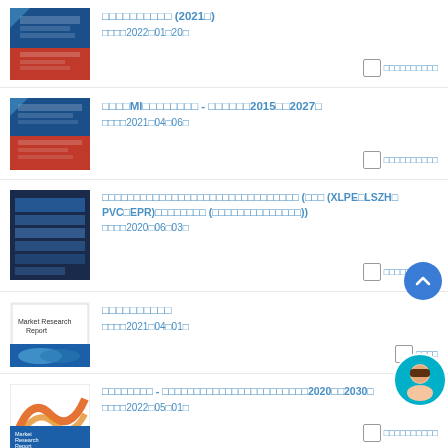□□□□□□□□□□ (2021□)
公開日：2022□01□20□
□□□□MI□□□□□□□□ - □□□□□□2015□□2027□
公開日：2021□04□06□
□□□□□□□□□□□□□□□□□□□□□□□□□□□□□□□ (□□□ (XLPE□LSZH□PVC□EPR)□□□□□□□□ (□□□□□□□□□□□□□□))
公開日：2020□06□03□
□□□□□□□□□□
公開日：2021□04□01□
□□□□□□□□ - □□□□□□□□□□□□□□□□□□□□□□□2020□□2030□
公開日：2022□05□01□